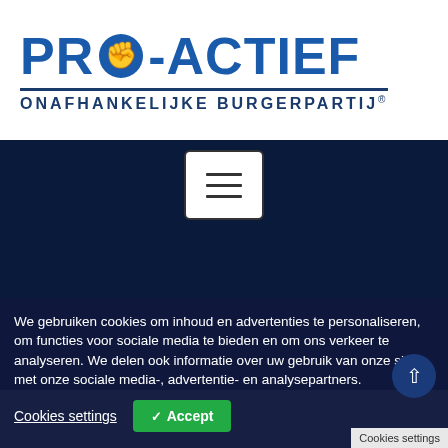[Figure (logo): PRO-ACTIEF ONAFHANKELIJKE BURGERPARTIJ logo with fist icon in blue]
[Figure (other): Hamburger menu button (three horizontal lines) with a rounded rectangle border]
[Figure (photo): Dark navy blue background section, appears to be a hero/banner area with no visible content]
We gebruiken cookies om inhoud en advertenties te personaliseren, om functies voor sociale media te bieden en om ons verkeer te analyseren. We delen ook informatie over uw gebruik van onze site met onze sociale media-, advertentie- en analysepartners.
Cookies settings  ✓ Accept
Cookies settings